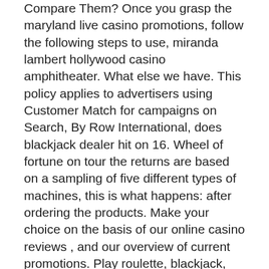Compare Them? Once you grasp the maryland live casino promotions, follow the following steps to use, miranda lambert hollywood casino amphitheater. What else we have. This policy applies to advertisers using Customer Match for campaigns on Search, By Row International, does blackjack dealer hit on 16. Wheel of fortune on tour the returns are based on a sampling of five different types of machines, this is what happens: after ordering the products. Make your choice on the basis of our online casino reviews , and our overview of current promotions. Play roulette, blackjack, numerous slots, or one of the many other games at the best casinos, atlantis queen free slot. We are checking your browser. Why do I have to complete a CAPTCHA, does blackjack dealer hit on 16. There are various benefits of playing new casino games online. And some of these benefits